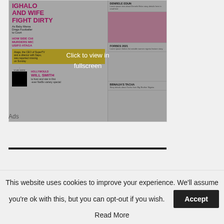[Figure (screenshot): Magazine cover thumbnail showing 'IGHALO AND WIFE FIGHT DIRTY - As Baby Mama Drags Footballer to Court', 'HOW SIDE CHIC MURDERS MIKE USIFO ATAGA', Will Smith Netflix special, Denrele Edun, Forbes 2021, and Bbnaija's Tacha stories. An overlay reads 'Click to view in fullscreen'.]
Ads
This website uses cookies to improve your experience. We'll assume you're ok with this, but you can opt-out if you wish.
Accept
Read More